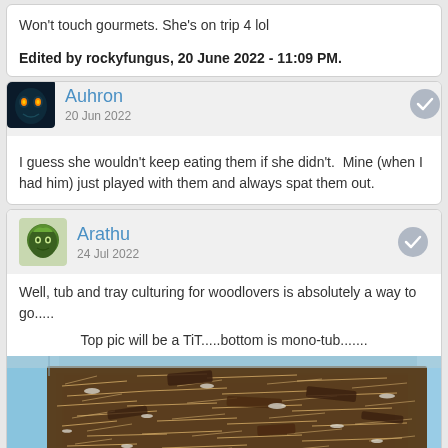Won't touch gourmets. She's on trip 4 lol
Edited by rockyfungus, 20 June 2022 - 11:09 PM.
Auhron
20 Jun 2022
I guess she wouldn't keep eating them if she didn't.  Mine (when I had him) just played with them and always spat them out.
Arathu
24 Jul 2022
Well, tub and tray culturing for woodlovers is absolutely a way to go.....
Top pic will be a TiT.....bottom is mono-tub.......
[Figure (photo): Photo of a plastic tub/container filled with shredded wood substrate, bark pieces and mulch material used for culturing woodlouse/isopods.]